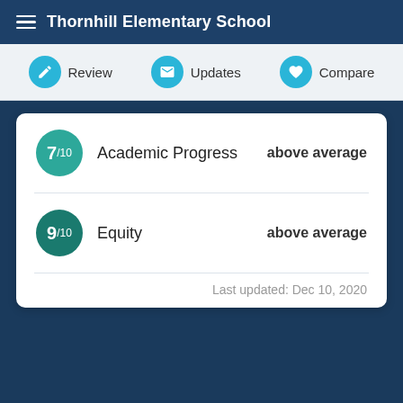Thornhill Elementary School
Review | Updates | Compare
| Score | Category | Rating |
| --- | --- | --- |
| 7/10 | Academic Progress | above average |
| 9/10 | Equity | above average |
Last updated: Dec 10, 2020